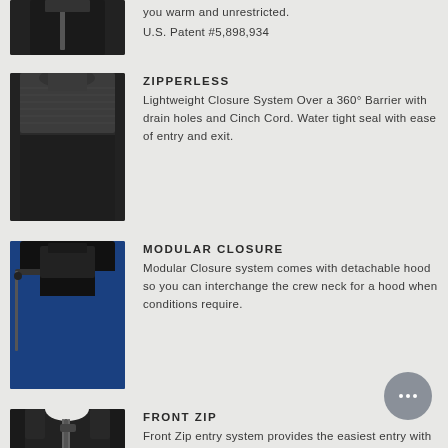[Figure (photo): Partial view of a person wearing a black wetsuit with a zipper, cropped at top]
you warm and unrestricted. U.S. Patent #5,898,934
[Figure (photo): Close-up of the zipperless closure system on a dark grey wetsuit, showing neoprene collar and shoulder area]
ZIPPERLESS
Lightweight Closure System Over a 360° Barrier with drain holes and Cinch Cord. Water tight seal with ease of entry and exit.
[Figure (photo): Close-up of the modular closure system on a blue and black wetsuit, showing detachable hood attachment at the neck]
MODULAR CLOSURE
Modular Closure system comes with detachable hood so you can interchange the crew neck for a hood when conditions require.
[Figure (photo): Partial view of a person wearing a black sleeveless wetsuit with a front zip entry, showing chest and zipper]
FRONT ZIP
Front Zip entry system provides the easiest entry with an old school feel. Also keeps zippers away from the chest.